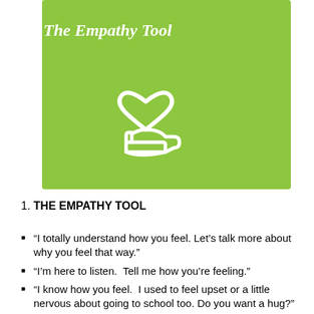[Figure (illustration): Green square with white text 'The Empathy Tool' in bold italic serif font at top left, and a white outline icon of a hand holding a heart in the center.]
1. THE EMPATHY TOOL
“I totally understand how you feel. Let’s talk more about why you feel that way.”
“I’m here to listen.  Tell me how you’re feeling.”
“I know how you feel.  I used to feel upset or a little nervous about going to school too. Do you want a hug?”